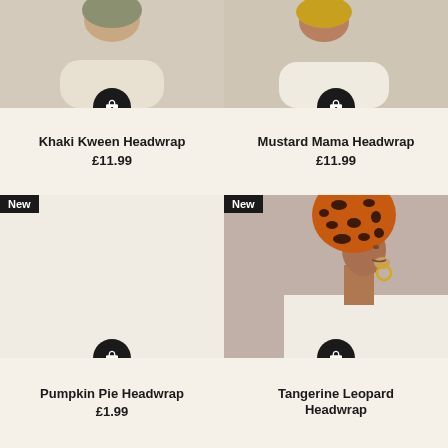[Figure (photo): Top half of person wearing khaki headwrap, shown from shoulders up against light background, with shopping cart lock button overlay]
[Figure (photo): Top half of person wearing mustard yellow headwrap, shown in profile against light background, with shopping cart lock button overlay]
Khaki Kween Headwrap
£11.99
Mustard Mama Headwrap
£11.99
[Figure (photo): Blank/light product placeholder image with New badge and shopping cart lock button overlay for Pumpkin Pie Headwrap]
[Figure (photo): Woman in profile view wearing orange and black tangerine leopard print headwrap tied in large bun, wearing gold hoop earring, with New badge and shopping cart lock button overlay]
Pumpkin Pie Headwrap
£1.99
Tangerine Leopard Headwrap